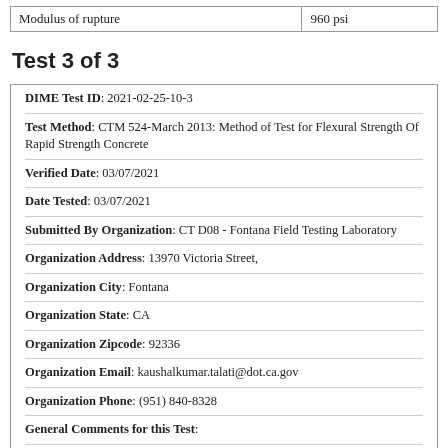| Modulus of rupture | 960 psi |
Test 3 of 3
DIME Test ID: 2021-02-25-10-3
Test Method: CTM 524-March 2013: Method of Test for Flexural Strength Of Rapid Strength Concrete
Verified Date: 03/07/2021
Date Tested: 03/07/2021
Submitted By Organization: CT D08 - Fontana Field Testing Laboratory
Organization Address: 13970 Victoria Street,
Organization City: Fontana
Organization State: CA
Organization Zipcode: 92336
Organization Email: kaushalkumar.talati@dot.ca.gov
Organization Phone: (951) 840-8328
General Comments for this Test:
Test Result Compliance: complies
Additional Comments When Verified:
| Number of specimens | 1 |